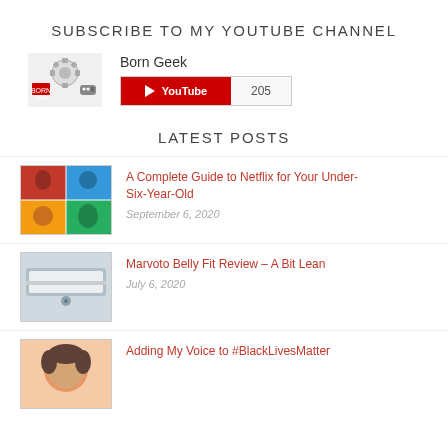SUBSCRIBE TO MY YOUTUBE CHANNEL
[Figure (logo): Born Geek YouTube channel logo with subscribe button showing 205 subscribers]
LATEST POSTS
[Figure (photo): Thumbnail image for Netflix for Under-Six-Year-Old article showing children's show characters]
A Complete Guide to Netflix for Your Under-Six-Year-Old
September 6, 2020
[Figure (photo): Thumbnail image for Marvoto Belly Fit Review showing device]
Marvoto Belly Fit Review – A Bit Lean
July 6, 2020
[Figure (photo): Thumbnail image for Adding My Voice to #BlackLivesMatter article]
Adding My Voice to #BlackLivesMatter